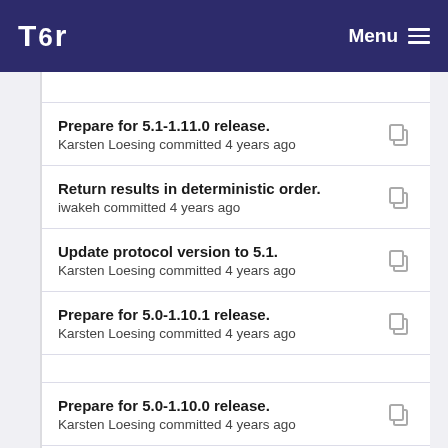Tor | Menu
Prepare for 5.1-1.11.0 release.
Karsten Loesing committed 4 years ago
Return results in deterministic order.
iwakeh committed 4 years ago
Update protocol version to 5.1.
Karsten Loesing committed 4 years ago
Prepare for 5.0-1.10.1 release.
Karsten Loesing committed 4 years ago
Prepare for 5.0-1.10.0 release.
Karsten Loesing committed 4 years ago
Don't rely on system time for writing histories.
Karsten Loesing committed ...